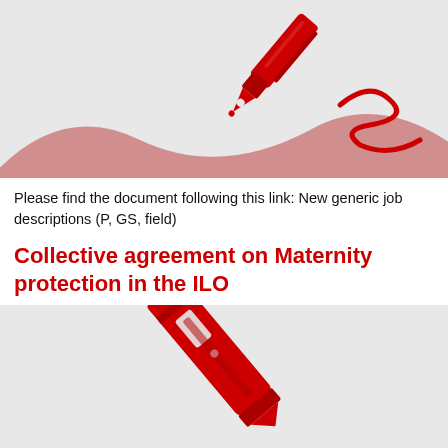[Figure (illustration): Red pen/fountain pen icon writing a signature on a wavy pinkish-red hill/background on light grey.]
Please find the document following this link: New generic job descriptions (P, GS, field)
Collective agreement on Maternity protection in the ILO
[Figure (illustration): Red pencil/pen icon on light grey background, partially visible at bottom of page.]